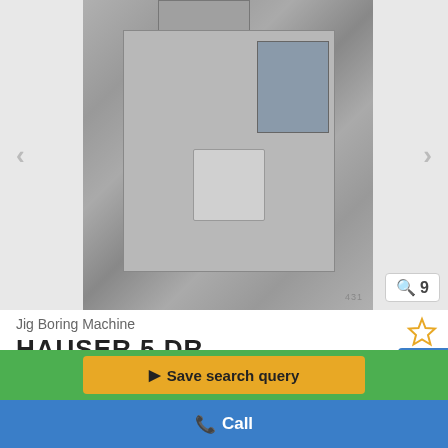[Figure (photo): Photograph of a Hauser 5 DR Jig Boring Machine, a large industrial grey metal machine with a control panel on the right side, photographed in a workshop setting.]
Jig Boring Machine
HAUSER  5 DR
[Figure (logo): Certified Dealer badge — circular teal/blue gear-shaped badge with checkmark and text CERTIFIED DEALER]
Save search query
Call